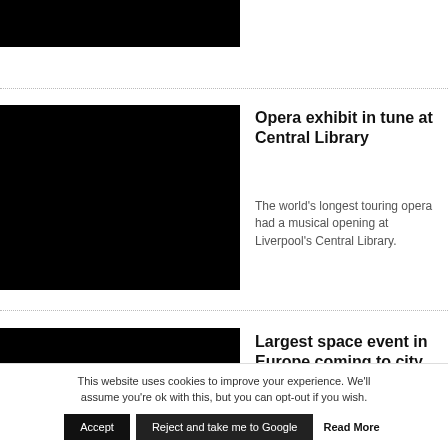[Figure (photo): Black image placeholder at top of page]
[Figure (photo): Black image placeholder for opera exhibit article]
Opera exhibit in tune at Central Library
The world’s longest touring opera had a musical opening at Liverpool’s Central Library.
[Figure (photo): Black image placeholder for largest space event article]
Largest space event in Europe coming to city
LJMU has won its bid to host the European Week of Astronomy and Space Science
This website uses cookies to improve your experience. We’ll assume you’re ok with this, but you can opt-out if you wish.
Accept
Reject and take me to Google
Read More